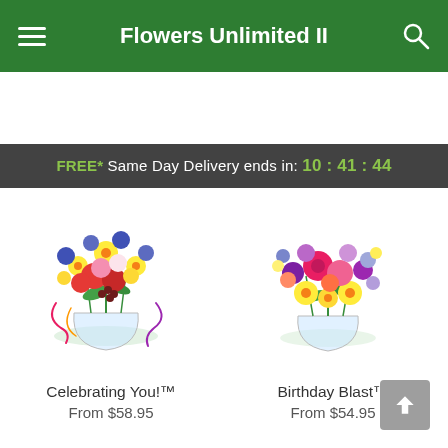Flowers Unlimited II
FREE* Same Day Delivery ends in: 10:41:44
[Figure (photo): Colorful flower bouquet in a clear glass vase - Celebrating You! arrangement with red, yellow, blue, and pink flowers with curly ribbons]
Celebrating You!™
From $58.95
[Figure (photo): Colorful flower bouquet in a clear glass vase - Birthday Blast arrangement with pink roses, purple flowers, yellow daisies, and orange blooms]
Birthday Blast™
From $54.95